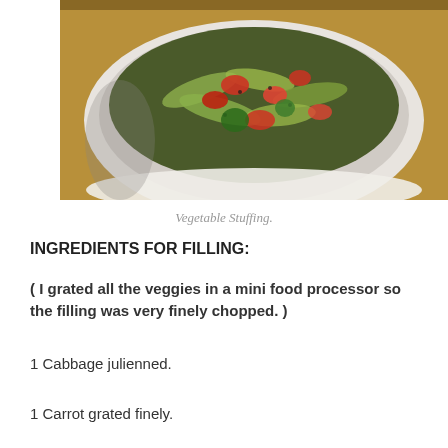[Figure (photo): A white bowl filled with sautéed vegetable stuffing including cabbage, red peppers, and other vegetables, placed on a wooden surface.]
Vegetable Stuffing.
INGREDIENTS FOR FILLING:
( I grated all the veggies in a mini food processor so the filling was very finely chopped. )
1 Cabbage julienned.
1 Carrot grated finely.